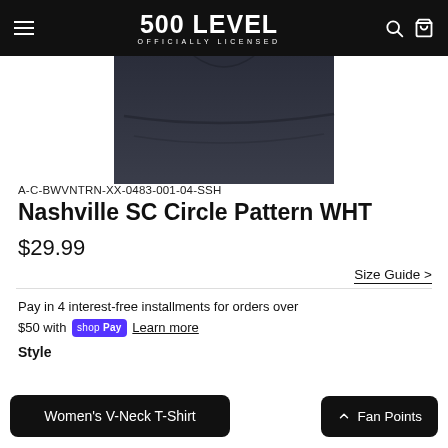500 LEVEL OFFICIALLY LICENSED
[Figure (photo): Partial view of a dark navy/black t-shirt folded, shown from the top portion, on white background]
A-C-BWVNTRN-XX-0483-001-04-SSH
Nashville SC Circle Pattern WHT
$29.99
Size Guide >
Pay in 4 interest-free installments for orders over $50 with shop Pay Learn more
Style
Women's V-Neck T-Shirt
Fan Points